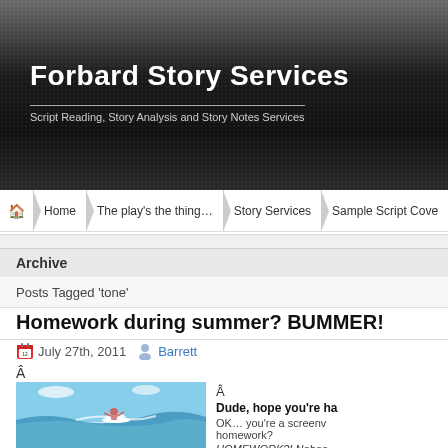Forbard Story Services — Script Reading, Story Analysis and Story Notes Services
[Figure (screenshot): Website navigation bar with Home, The play's the thing…, Story Services, Sample Script Cover links]
Archive
Posts Tagged 'tone'
Homework during summer? BUMMER!
July 27th, 2011  Barrett
Â
[Figure (photo): Surfer riding a wave on a surfboard in the ocean]
Â
Dude, hope you're ha
OK… you're a screenv homework?
HOMEWORK?! Noboo